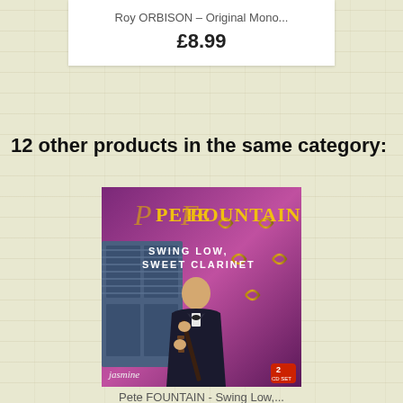Roy ORBISON – Original Mono...
£8.99
12 other products in the same category:
[Figure (photo): Album cover for Pete Fountain - Swing Low, Sweet Clarinet. Purple/pink background with ornate iron gate. Man in suit playing clarinet. Title text in yellow/gold letters. Jasmine label logo. 2 CD set badge.]
Pete FOUNTAIN - Swing Low,...